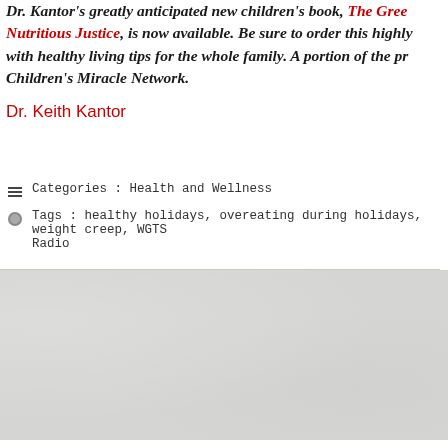Dr. Kantor's greatly anticipated new children's book, The Green Nutritious Justice, is now available. Be sure to order this highly with healthy living tips for the whole family. A portion of the pr Children's Miracle Network.
Dr. Keith Kantor
Categories : Health and Wellness
Tags : healthy holidays, overeating during holidays, weight creep, WGTS Radio